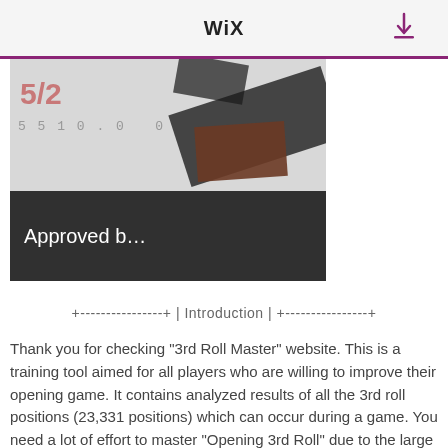WiX
[Figure (photo): A photo showing cards or papers with '5/2' and numbers '5 5 1 0 0' visible, with dark overlapping objects. A dark caption bar at the bottom reads 'Approved b...']
+----------------+ | Introduction | +----------------+
Thank you for checking "3rd Roll Master" website. This is a training tool aimed for all players who are willing to improve their opening game. It contains analyzed results of all the 3rd roll positions (23,331 positions) which can occur during a game. You need a lot of effort to master "Opening 3rd Roll" due to the large number of possibilities. However, you will surely